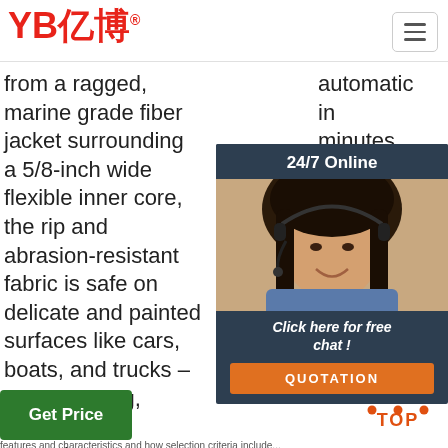[Figure (logo): YB亿博 logo in red with registered trademark symbol]
from a ragged, marine grade fiber jacket surrounding a 5/8-inch wide flexible inner core, the rip and abrasion-resistant fabric is safe on delicate and painted surfaces like cars, boats, and trucks – no scratching, scuffing or snagging!
automatically in minutes to its orig or k tang use find not
[Figure (photo): 24/7 Online chat popup with customer service representative photo, 'Click here for free chat!' text, and QUOTATION button]
[Figure (infographic): Get Price green button]
[Figure (other): TOP scroll-to-top icon with orange dots and text]